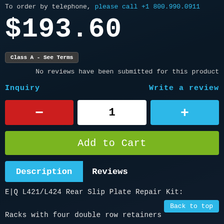To order by telephone, please call +1 800.990.0911
$193.60
Class A - See Terms
No reviews have been submitted for this product
Inquiry
Write a review
- [quantity: 1] +
Add to Cart
Description    Reviews
E|Q L421/L424 Rear Slip Plate Repair Kit:
Back to top
Racks with four double row retainers